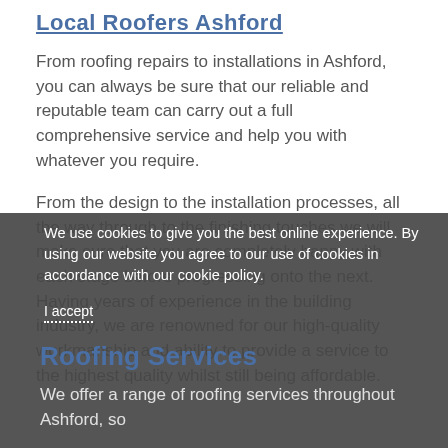Local Roofers Ashford
From roofing repairs to installations in Ashford, you can always be sure that our reliable and reputable team can carry out a full comprehensive service and help you with whatever you require.
From the design to the installation processes, all the way through to the finishing touches we will make sure that you are completely happy with each stage before progressing onto the next. Having years of experience in the building industry, we are renowned for our high-quality workmanship and ability to provide a service to the highest quality whilst still being affordable.
We use cookies to give you the best online experience. By using our website you agree to our use of cookies in accordance with our cookie policy.
I accept
Roofing Services
We offer a range of roofing services throughout Ashford, so